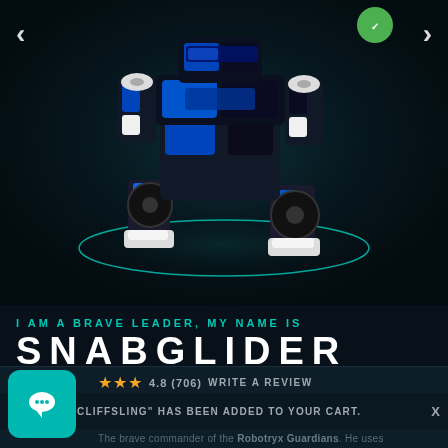[Figure (screenshot): A blue and black LEGO robot figure (Snabglider) standing on a dark teal-lit circular platform against a dark background. Navigation arrows visible on left and right.]
I AM A BRAVE LEADER, MY NAME IS
SNABGLIDER
4.8 (706)  WRITE A REVIEW
VIEW CART "CLIFFSLING" HAS BEEN ADDED TO YOUR CART.
The brave commander of the Robotryx Guardians. He uses